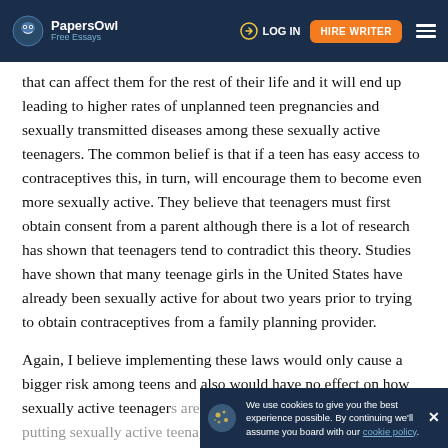PapersOwl Free Essays | LOG IN | HIRE WRITER
that can affect them for the rest of their life and it will end up leading to higher rates of unplanned teen pregnancies and sexually transmitted diseases among these sexually active teenagers. The common belief is that if a teen has easy access to contraceptives this, in turn, will encourage them to become even more sexually active. They believe that teenagers must first obtain consent from a parent although there is a lot of research has shown that teenagers tend to contradict this theory. Studies have shown that many teenage girls in the United States have already been sexually active for about two years prior to trying to obtain contraceptives from a family planning provider.
Again, I believe implementing these laws would only cause a bigger risk among teens and also would have no effect on how sexually active teenagers are. If these laws are imposed they be putting sexually active teenagers at more risk. In a study